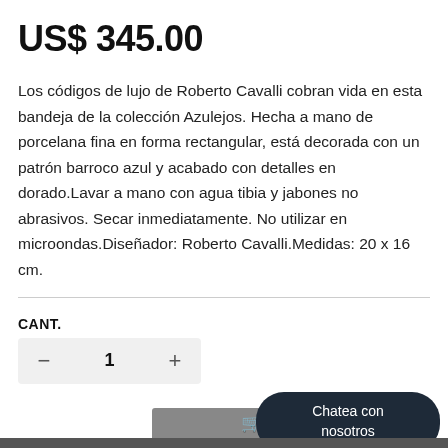US$ 345.00
Los códigos de lujo de Roberto Cavalli cobran vida en esta bandeja de la colección Azulejos. Hecha a mano de porcelana fina en forma rectangular, está decorada con un patrón barroco azul y acabado con detalles en dorado.Lavar a mano con agua tibia y jabones no abrasivos. Secar inmediatamente. No utilizar en microondas.Diseñador: Roberto Cavalli.Medidas: 20 x 16 cm.
CANT.
− 1 +
🛒 AGREGAR AL
Chatea con nosotros